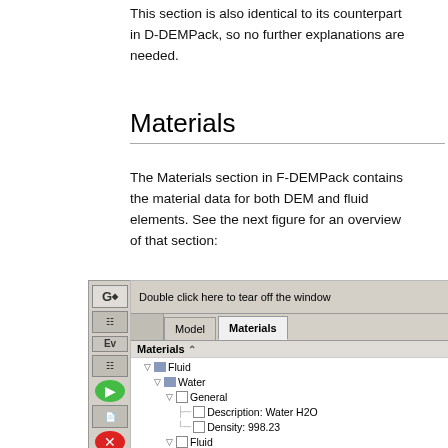This section is also identical to its counterpart in D-DEMPack, so no further explanations are needed.
Materials
The Materials section in F-DEMPack contains the material data for both DEM and fluid elements. See the next figure for an overview of that section:
[Figure (screenshot): Screenshot of F-DEMPack GUI showing the Materials panel with a tree view containing Fluid > Water > General (Description: Water H2O, Density: 998.23) and Fluid (Non-Newtonian fluid: No, Viscosity: 1e-6, Bulk Modulus: 2.2e9) and DEM > DEM-DefaultMaterial nodes. Tabs for Model and Materials are visible at top. Left sidebar contains toolbar icons including play (green) and stop (red) buttons.]